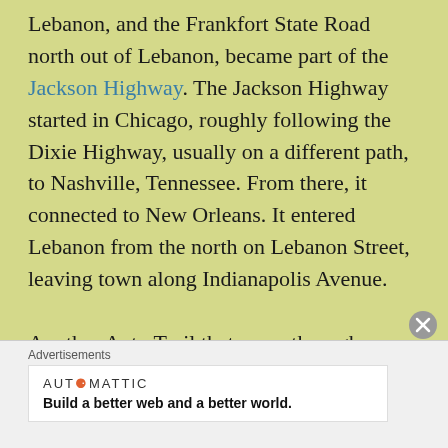Lebanon, and the Frankfort State Road north out of Lebanon, became part of the Jackson Highway. The Jackson Highway started in Chicago, roughly following the Dixie Highway, usually on a different path, to Nashville, Tennessee. From there, it connected to New Orleans. It entered Lebanon from the north on Lebanon Street, leaving town along Indianapolis Avenue.

Another Auto Trail that came through Lebanon was the Crawfordsville to Anderson. Just as it sounds, it crossed the state between
Advertisements
AUTOMATTIC
Build a better web and a better world.